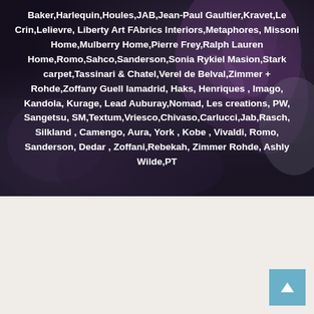[Figure (photo): Dark fabric/textile background with purple and grey tones, flower pattern visible]
Baker,Harlequin,Houles,JAB,Jean-Paul Gaultier,Kravet,Le Crin,Lelievre, Liberty Art FAbrics lnteriors,Metaphores, Missoni Home,Mulberry Home,Pierre Frey,Ralph Lauren Home,Romo,Sahco,Sanderson,Sonia Rykiel Masion,Stark carpet,Tassinari & Chatel,Verel de Belval,Zimmer + Rohde,Zoffany Guell lamadrid, Haks, Henriques , Imago, Kandola, Kurage, Lead Auburay,Nomad, Les creations, PW, Sangetsu, SM,Textum,Vriesco,Chivaso,Carlucci,Jab,Rasch, Silkland , Camengo, Aura, York , Kobe , Vivaldi, Romo, Sanderson, Dedar , Zoffani,Rebekah, Zimmer Rohde, Ashly Wilde,PT